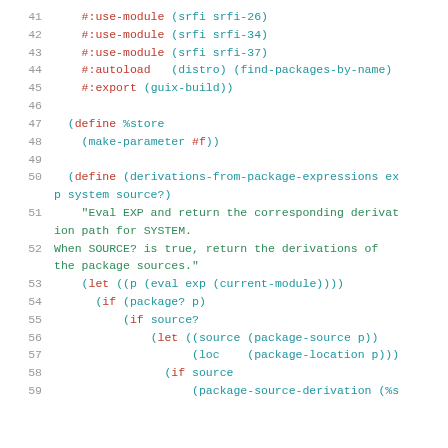[Figure (screenshot): Code snippet showing Scheme/Guile source code, lines 41-59, with syntax highlighting. Keywords in red, strings/comments in green, identifiers in teal/blue on white background.]